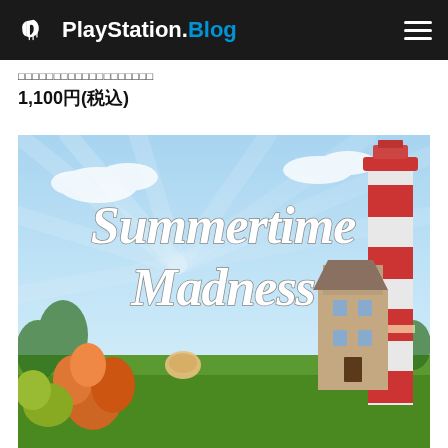PlayStation.Blog
□□□□□□□□□□□□□□□□□□□
1,100円(税込)
[Figure (illustration): Summertime Madness game cover art showing a stylized scene with a red and white striped lighthouse, colorful flowers, trees, a mansion, and a blue sky with dramatic light rays. The game title 'Summertime Madness' is displayed in white cursive script.]